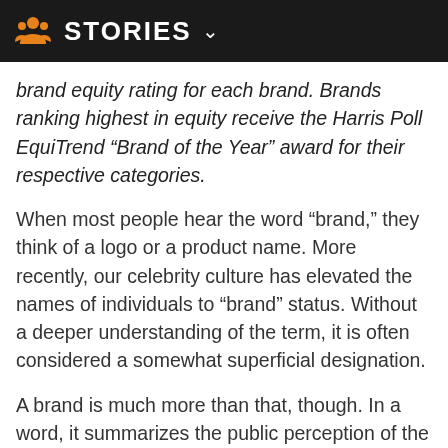STORIES
brand equity rating for each brand. Brands ranking highest in equity receive the Harris Poll EquiTrend “Brand of the Year” award for their respective categories.
When most people hear the word “brand,” they think of a logo or a product name. More recently, our celebrity culture has elevated the names of individuals to “brand” status. Without a deeper understanding of the term, it is often considered a somewhat superficial designation.
A brand is much more than that, though. In a word, it summarizes the public perception of the intangibles behind the name. It is our emotional and intuitive response, which includes for good or bad, reputation, trust